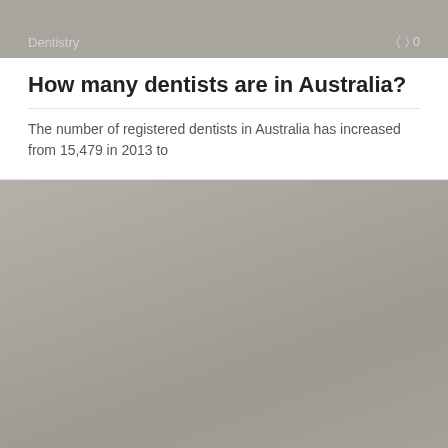[Figure (photo): Gray image card with Dentistry tag and comment count 0 at top]
How many dentists are in Australia?
The number of registered dentists in Australia has increased from 15,479 in 2013 to
[Figure (photo): Large gray image card with Dentistry tag and comment count 0]
What is a dental replacement clause?
A replacement clause stipulates that the insurer will not pay for replacement bridges or
[Figure (photo): Gray image card partially visible at bottom of page]